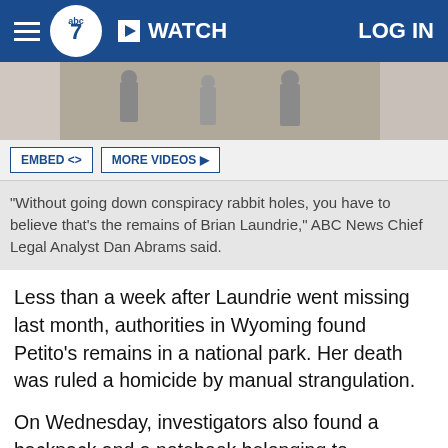ABC7 WATCH LOG IN
[Figure (photo): Partial video thumbnail showing people walking outdoors]
"Without going down conspiracy rabbit holes, you have to believe that's the remains of Brian Laundrie," ABC News Chief Legal Analyst Dan Abrams said.
Less than a week after Laundrie went missing last month, authorities in Wyoming found Petito's remains in a national park. Her death was ruled a homicide by manual strangulation.
On Wednesday, investigators also found a backpack and a notebook belonging to Laundrie, 23, near the remains while they were searching the Carlton Reserve in North Port, according to FBI Special